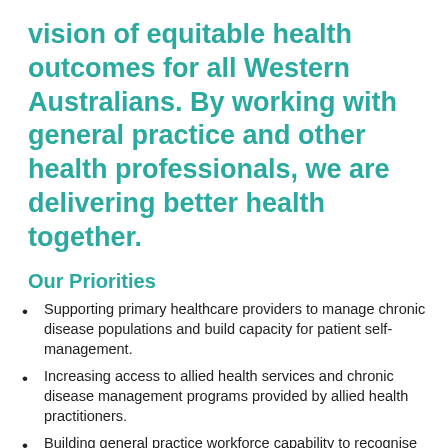vision of equitable health outcomes for all Western Australians. By working with general practice and other health professionals, we are delivering better health together.
Our Priorities
Supporting primary healthcare providers to manage chronic disease populations and build capacity for patient self-management.
Increasing access to allied health services and chronic disease management programs provided by allied health practitioners.
Building general practice workforce capability to recognise and respond to alcohol and other drug related issues.
Ensuring the capacity and capability of general practice in delivering contemporary better utilised...